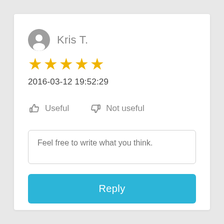Kris T.
[Figure (other): 5 gold stars rating]
2016-03-12 19:52:29
Useful   Not useful
Feel free to write what you think.
Reply